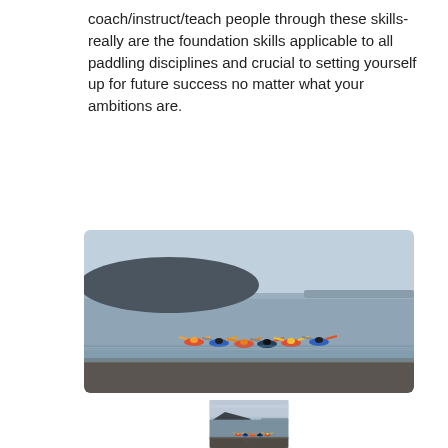coach/instruct/teach people through these skills- really are the foundation skills applicable to all paddling disciplines and crucial to setting yourself up for future success no matter what your ambitions are.
[Figure (photo): Group of kayakers paddling in a line on calm water near shore, with a dark hill/island visible in the background under an overcast sky. Pebble beach in foreground.]
[Figure (photo): Similar scene of kayakers on calm water near shore with the same hill in background, slightly different angle or moment, overcast sky. Pebble beach in foreground.]